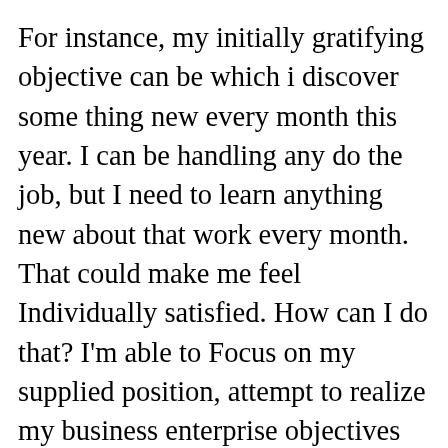For instance, my initially gratifying objective can be which i discover some thing new every month this year. I can be handling any do the job, but I need to learn anything new about that work every month. That could make me feel Individually satisfied. How can I do that? I'm able to Focus on my supplied position, attempt to realize my business enterprise objectives and find out one thing new coupled with that. This new Discovering also can help me reach enterprise objectives in time. Now if my Business helps make and sells detergents, I is not going to only attain the